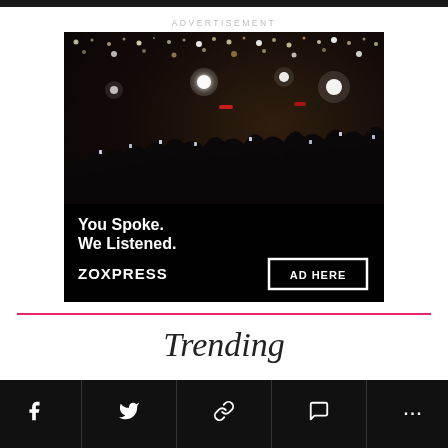ADVERTISEMENT
[Figure (photo): Concert crowd advertisement for ZOXPRESS with text 'You Spoke. We Listened.' and a button 'AD HERE']
Trending
Social share bar with Facebook, Twitter, link, comment, and more icons